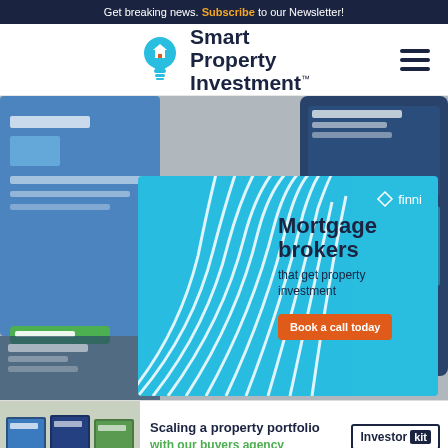Get breaking news. Subscribe to our Newsletter!
[Figure (logo): Smart Property Investment logo with lightbulb icon and hamburger menu]
[Figure (screenshot): Background collage of Smart Property Investment website screenshots on various devices]
[Figure (infographic): Finni mortgage brokers advertisement - cyan/blue background with curved line design, text: Mortgage brokers that get property investment, Book a call today button]
[Figure (infographic): Bottom advertisement: Scaling a property portfolio with our buyers agency - Investor Kit]